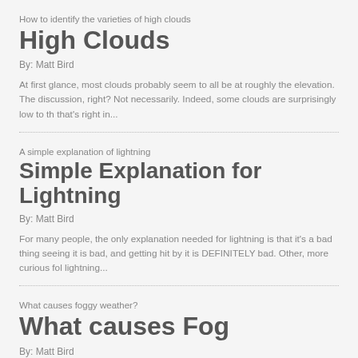How to identify the varieties of high clouds
High Clouds
By: Matt Bird
At first glance, most clouds probably seem to all be at roughly the elevation. The discussion, right? Not necessarily. Indeed, some clouds are surprisingly low to th that's right in...
A simple explanation of lightning
Simple Explanation for Lightning
By: Matt Bird
For many people, the only explanation needed for lightning is that it's a bad thing seeing it is bad, and getting hit by it is DEFINITELY bad. Other, more curious fol lightning...
What causes foggy weather?
What causes Fog
By: Matt Bird